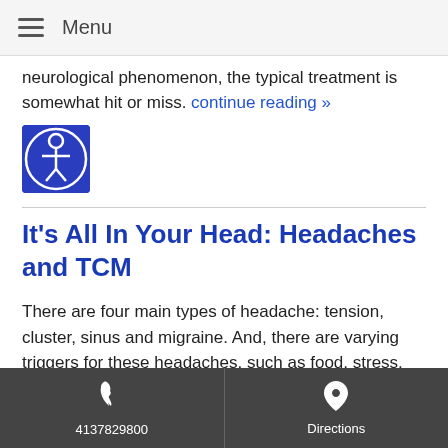Menu
neurological phenomenon, the typical treatment is somewhat hit or miss. continue reading »
[Figure (illustration): Blue accessibility icon with a person figure in a circle]
It's All In Your Head: Headaches and TCM
There are four main types of headache: tension, cluster, sinus and migraine. And, there are varying triggers for these headaches, such as food, stress, hormones, dehydration and weather. Fortunately, eliminating the triggers and finding natural ways to prevent and help
4137829800   Directions